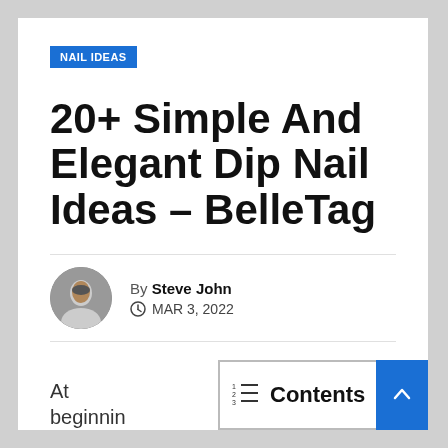NAIL IDEAS
20+ Simple And Elegant Dip Nail Ideas – BelleTag
By Steve John
MAR 3, 2022
At beginnin
Contents